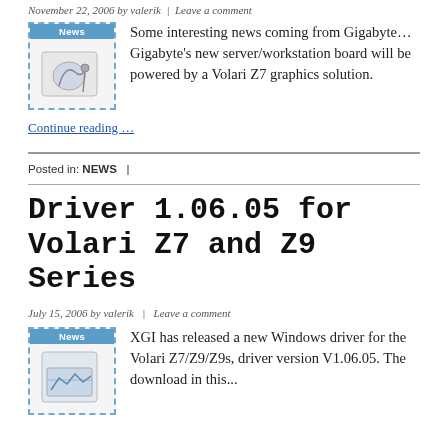November 22, 2006 by valerik | Leave a comment
Some interesting news coming from Gigabyte… Gigabyte's new server/workstation board will be powered by a Volari Z7 graphics solution.
Continue reading …
Posted in: NEWS |
Driver 1.06.05 for Volari Z7 and Z9 Series
July 15, 2006 by valerik | Leave a comment
XGI has released a new Windows driver for the Volari Z7/Z9/Z9s, driver version V1.06.05. The ...